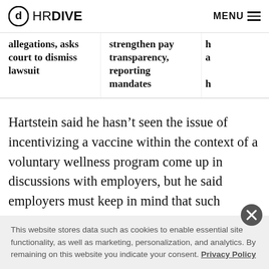HR DIVE | MENU
allegations, asks court to dismiss lawsuit
strengthen pay transparency, reporting mandates
Hartstein said he hasn't seen the issue of incentivizing a vaccine within the context of a voluntary wellness program come up in discussions with employers, but he said employers must keep in mind that such programs
This website stores data such as cookies to enable essential site functionality, as well as marketing, personalization, and analytics. By remaining on this website you indicate your consent. Privacy Policy